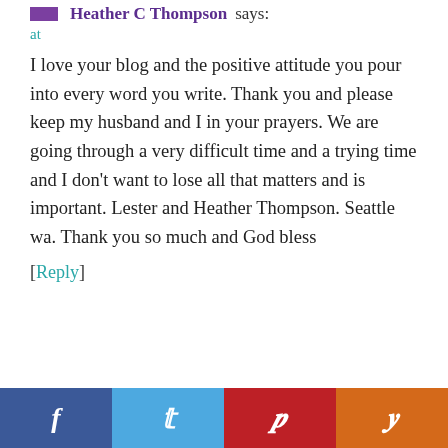Heather C Thompson says:
at
I love your blog and the positive attitude you pour into every word you write. Thank you and please keep my husband and I in your prayers. We are going through a very difficult time and a trying time and I don’t want to lose all that matters and is important. Lester and Heather Thompson. Seattle wa. Thank you so much and God bless
[Reply]